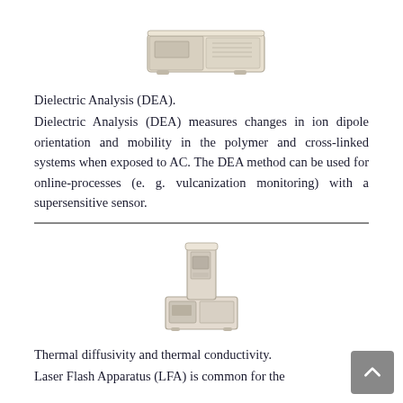[Figure (photo): Photo of a DEA (Dielectric Analysis) instrument — a beige/cream colored rectangular box-shaped laboratory analyzer]
Dielectric Analysis (DEA).
Dielectric Analysis (DEA) measures changes in ion dipole orientation and mobility in the polymer and cross-linked systems when exposed to AC. The DEA method can be used for online-processes (e. g. vulcanization monitoring) with a supersensitive sensor.
[Figure (photo): Photo of a Laser Flash Apparatus (LFA) instrument for measuring thermal diffusivity and thermal conductivity — a beige/cream colored tower-style laboratory instrument]
Thermal diffusivity and thermal conductivity.
Laser Flash Apparatus (LFA) is common for the